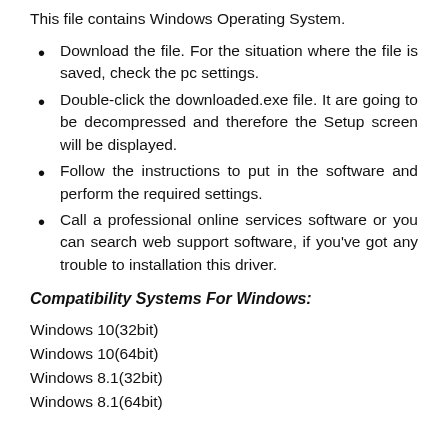This file contains Windows Operating System.
Download the file. For the situation where the file is saved, check the pc settings.
Double-click the downloaded.exe file. It are going to be decompressed and therefore the Setup screen will be displayed.
Follow the instructions to put in the software and perform the required settings.
Call a professional online services software or you can search web support software, if you've got any trouble to installation this driver.
Compatibility Systems For Windows:
Windows 10(32bit)
Windows 10(64bit)
Windows 8.1(32bit)
Windows 8.1(64bit)